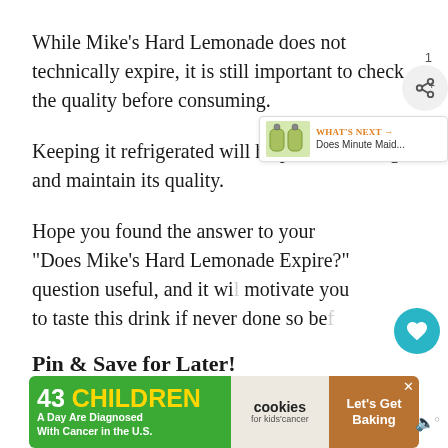While Mike’s Hard Lemonade does not technically expire, it is still important to check the quality before consuming.
Keeping it refrigerated will help it to last longer and maintain its quality.
Hope you found the answer to your “Does Mike’s Hard Lemonade Expire?” question useful, and it will motivate you to taste this drink if never done so before.
Pin & Save for Later!
[Figure (screenshot): Web UI overlay elements: heart/save button (teal circle), share button (grey circle with share icon), count label '1', and a 'What's Next' panel showing 'Does Minute Maid...']
[Figure (infographic): Ad banner: '43 CHILDREN A Day Are Diagnosed With Cancer in the U.S.' with cookies for kids cancer and 'Let's Get Baking' sections]